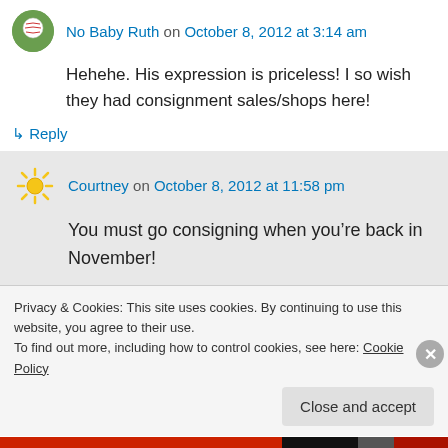No Baby Ruth on October 8, 2012 at 3:14 am
Hehehe. His expression is priceless! I so wish they had consignment sales/shops here!
↳ Reply
Courtney on October 8, 2012 at 11:58 pm
You must go consigning when you're back in November!
Privacy & Cookies: This site uses cookies. By continuing to use this website, you agree to their use.
To find out more, including how to control cookies, see here: Cookie Policy
Close and accept